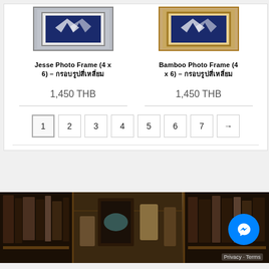[Figure (photo): Jesse Photo Frame (4x6) product image - framed artwork in silver/grey frame with blue pattern]
Jesse Photo Frame (4 x 6) – กรอบรูปสี่เหลี่ยม
1,450 THB
[Figure (photo): Bamboo Photo Frame (4x6) product image - framed artwork in gold/bamboo frame with blue pattern]
Bamboo Photo Frame (4 x 6) – กรอบรูปสี่เหลี่ยม
1,450 THB
Pagination: 1 2 3 4 5 6 7 →
[Figure (photo): Interior library/study room photo with bookshelves, leather chair, desk, books and decorative items]